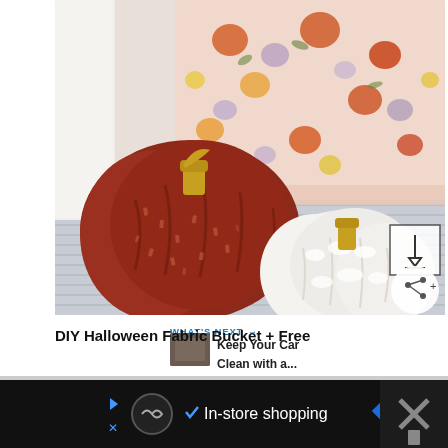[Figure (photo): Photo of decorative fabric pumpkins — a dark red/rust textured fabric pumpkin with gold stem and a white fuzzy pumpkin with gold stem, arranged on a striped surface in front of a floral-patterned fabric bag with orange, pink, and purple flowers on a white background.]
WHAT'S NEXT →
[Figure (photo): Small thumbnail image for 'What's Next' recommendation showing a dark scene.]
Keep Your Car Clean with a...
DIY Halloween Fabric Bucket + Free
[Figure (infographic): Advertisement strip: circular icon, play button, In-store shopping text with checkmark, blue diamond navigation icon, dark right panel with X symbol graphic.]